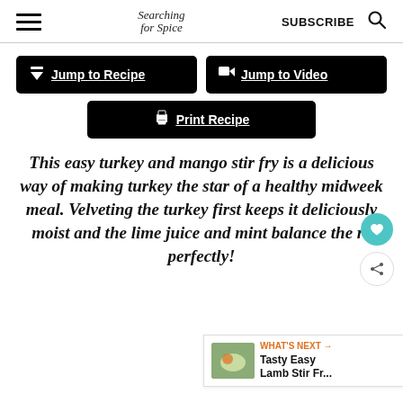Searching for Spice | SUBSCRIBE
Jump to Recipe | Jump to Video | Print Recipe
This easy turkey and mango stir fry is a delicious way of making turkey the star of a healthy midweek meal. Velveting the turkey first keeps it deliciously moist and the lime juice and mint balance the re perfectly!